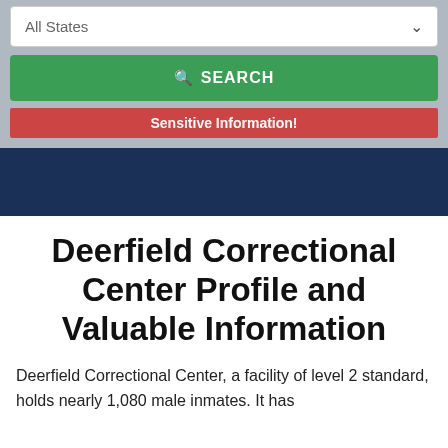All States
SEARCH
Sensitive Information!
Deerfield Correctional Center Profile and Valuable Information
Deerfield Correctional Center, a facility of level 2 standard, holds nearly 1,080 male inmates. It has